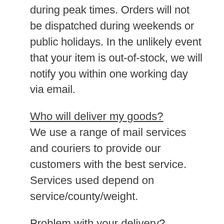during peak times. Orders will not be dispatched during weekends or public holidays. In the unlikely event that your item is out-of-stock, we will notify you within one working day via email.
Who will deliver my goods?
We use a range of mail services and couriers to provide our customers with the best service. Services used depend on service/county/weight.
Problem with your delivery?
If you have any questions or concerns with your order then please email us at clonkeenequestriansupplies@gm